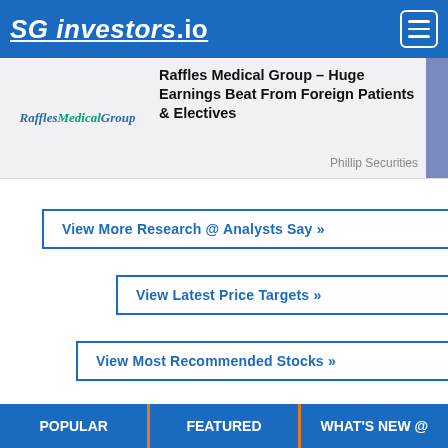SG investors.io
Raffles Medical Group – Huge Earnings Beat From Foreign Patients & Electives
Phillip Securities
View More Research @ Analysts Say »
View Latest Price Targets »
View Most Recommended Stocks »
POPULAR | FEATURED | WHAT'S NEW @